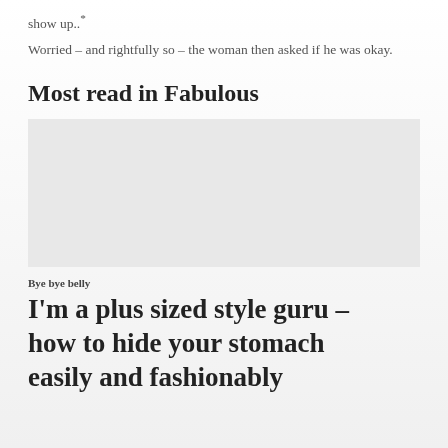show up..*
Worried – and rightfully so – the woman then asked if he was okay.
Most read in Fabulous
[Figure (photo): Image placeholder area for article thumbnail]
Bye bye belly
I'm a plus sized style guru – how to hide your stomach easily and fashionably